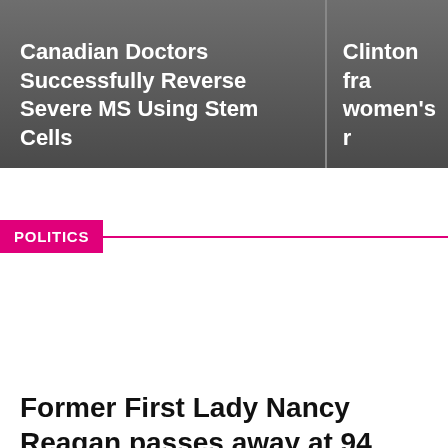Canadian Doctors Successfully Reverse Severe MS Using Stem Cells
Clinton fra women's r
POLITICS
Former First Lady Nancy Reagan passes away at 94